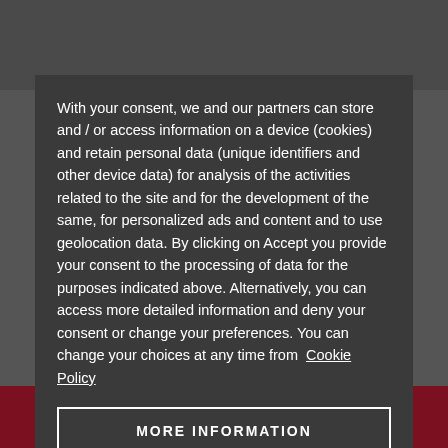[Figure (photo): Background photo of a building/property, partially obscured by a dark overlay and modal dialog]
With your consent, we and our partners can store and / or access information on a device (cookies) and retain personal data (unique identifiers and other device data) for analysis of the activities related to the site and for the development of the same, for personalized ads and content and to use geolocation data. By clicking on Accept you provide your consent to the processing of data for the purposes indicated above. Alternatively, you can access more detailed information and deny your consent or change your preferences. You can change your choices at any time from Cookie Policy
MORE INFORMATION
ACCEPT
SAVE SEARCH